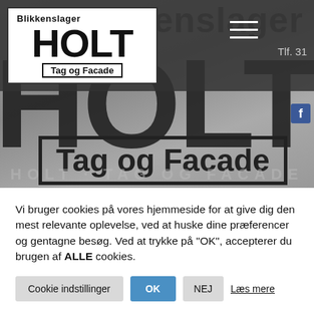[Figure (photo): Website screenshot showing Blikkenslager HOLT Tag og Facade company logo on a white box overlaid on a dark gray header, with a large van photo in the background showing HOLT Tag og Facade branding. A hamburger menu icon and phone number 'Tlf. 31...' are visible in the top right.]
Vi bruger cookies på vores hjemmeside for at give dig den mest relevante oplevelse, ved at huske dine præferencer og gentagne besøg. Ved at trykke på "OK", accepterer du brugen af ALLE cookies.
Cookie indstillinger
OK
NEJ
Læs mere